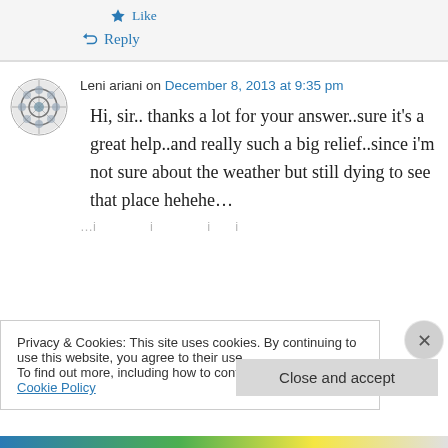★ Like
↳ Reply
Leni ariani on December 8, 2013 at 9:35 pm
Hi, sir.. thanks a lot for your answer..sure it's a great help..and really such a big relief..since i'm not sure about the weather but still dying to see that place hehehe...
Privacy & Cookies: This site uses cookies. By continuing to use this website, you agree to their use.
To find out more, including how to control cookies, see here: Cookie Policy
Close and accept